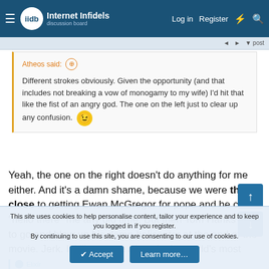Internet Infidels discussion board — Log in | Register
Atheos said:
Different strokes obviously. Given the opportunity (and that includes not breaking a vow of monogamy to my wife) I'd hit that like the fist of an angry god. The one on the left just to clear up any confusion. 😉
Yeah, the one on the right doesn't do anything for me either. And it's a damn shame, because we were this close to getting Ewan McGregor for pope and he can "hello there" me any old time. But then Tom Hanks had to go and blow up his damn helicopter at the end of the movie. Jerk. I'd like to see him rule the world's most secretive cabal effectively.
This site uses cookies to help personalise content, tailor your experience and to keep you logged in if you register. By continuing to use this site, you are consenting to our use of cookies. Accept | Learn more...